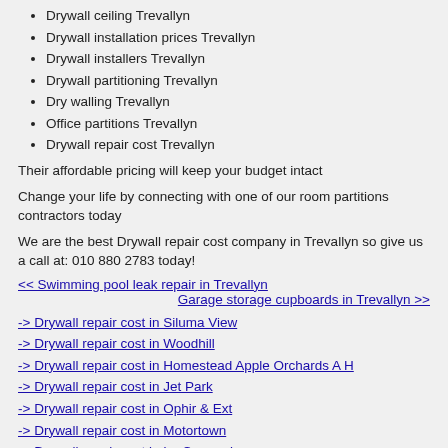Drywall ceiling Trevallyn
Drywall installation prices Trevallyn
Drywall installers Trevallyn
Drywall partitioning Trevallyn
Dry walling Trevallyn
Office partitions Trevallyn
Drywall repair cost Trevallyn
Their affordable pricing will keep your budget intact
Change your life by connecting with one of our room partitions contractors today
We are the best Drywall repair cost company in Trevallyn so give us a call at: 010 880 2783 today!
<< Swimming pool leak repair in Trevallyn
Garage storage cupboards in Trevallyn >>
-> Drywall repair cost in Siluma View
-> Drywall repair cost in Woodhill
-> Drywall repair cost in Homestead Apple Orchards A H
-> Drywall repair cost in Jet Park
-> Drywall repair cost in Ophir & Ext
-> Drywall repair cost in Motortown
-> Drywall repair cost in La Concorde
-> Drywall repair cost in Cramerview